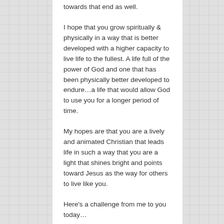towards that end as well.
I hope that you grow spiritually & physically in a way that is better developed with a higher capacity to live life to the fullest. A life full of the power of God and one that has been physically better developed to endure…a life that would allow God to use you for a longer period of time.
My hopes are that you are a lively and animated Christian that leads life in such a way that you are a light that shines bright and points toward Jesus as the way for others to live like you.
Here's a challenge from me to you today…
Do you feel you are serving in a way that makes you vital to the body of Christ? If